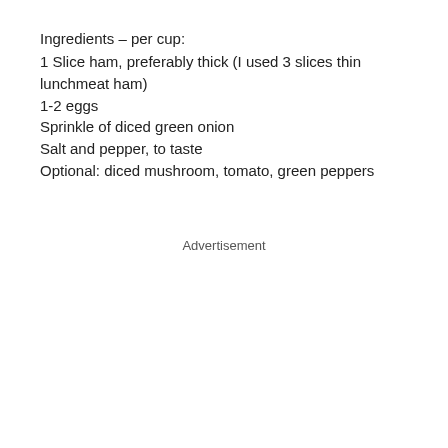Ingredients – per cup:
1 Slice ham, preferably thick (I used 3 slices thin lunchmeat ham)
1-2 eggs
Sprinkle of diced green onion
Salt and pepper, to taste
Optional: diced mushroom, tomato, green peppers
Advertisement